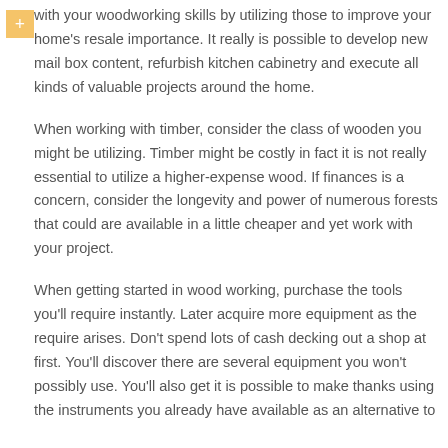with your woodworking skills by utilizing those to improve your home's resale importance. It really is possible to develop new mail box content, refurbish kitchen cabinetry and execute all kinds of valuable projects around the home.
When working with timber, consider the class of wooden you might be utilizing. Timber might be costly in fact it is not really essential to utilize a higher-expense wood. If finances is a concern, consider the longevity and power of numerous forests that could are available in a little cheaper and yet work with your project.
When getting started in wood working, purchase the tools you'll require instantly. Later acquire more equipment as the require arises. Don't spend lots of cash decking out a shop at first. You'll discover there are several equipment you won't possibly use. You'll also get it is possible to make thanks using the instruments you already have available as an alternative to